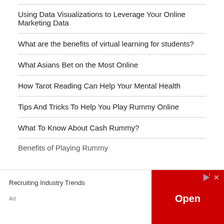Using Data Visualizations to Leverage Your Online Marketing Data
What are the benefits of virtual learning for students?
What Asians Bet on the Most Online
How Tarot Reading Can Help Your Mental Health
Tips And Tricks To Help You Play Rummy Online
What To Know About Cash Rummy?
Benefits of Playing Rummy
Recruiting Industry Trends
Open
Ad